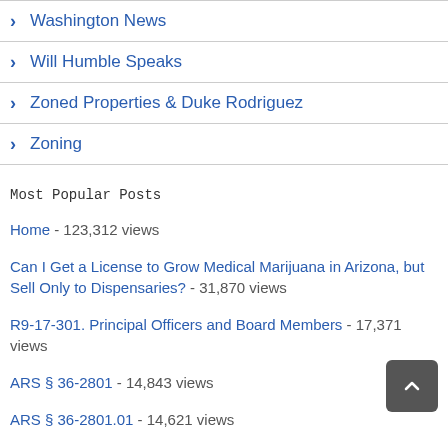> Washington News
> Will Humble Speaks
> Zoned Properties & Duke Rodriguez
> Zoning
Most Popular Posts
Home - 123,312 views
Can I Get a License to Grow Medical Marijuana in Arizona, but Sell Only to Dispensaries? - 31,870 views
R9-17-301. Principal Officers and Board Members - 17,371 views
ARS § 36-2801 - 14,843 views
ARS § 36-2801.01 - 14,621 views